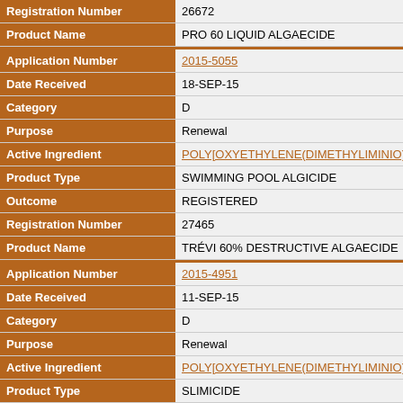| Field | Value |
| --- | --- |
| Registration Number | 26672 |
| Product Name | PRO 60 LIQUID ALGAECIDE |
| Application Number | 2015-5055 |
| Date Received | 18-SEP-15 |
| Category | D |
| Purpose | Renewal |
| Active Ingredient | POLY[OXYETHYLENE(DIMETHYLIMINIO)ETH… |
| Product Type | SWIMMING POOL ALGICIDE |
| Outcome | REGISTERED |
| Registration Number | 27465 |
| Product Name | TRÉVI 60% DESTRUCTIVE ALGAECIDE |
| Application Number | 2015-4951 |
| Date Received | 11-SEP-15 |
| Category | D |
| Purpose | Renewal |
| Active Ingredient | POLY[OXYETHYLENE(DIMETHYLIMINIO)ETH… |
| Product Type | SLIMICIDE |
| Outcome | REGISTERED |
| Registration Number | 26283 |
| Product Name | ZEP TOWER 610 |
| Application Number | 2015-4616 |
| Date Received | 08-SEP-15 |